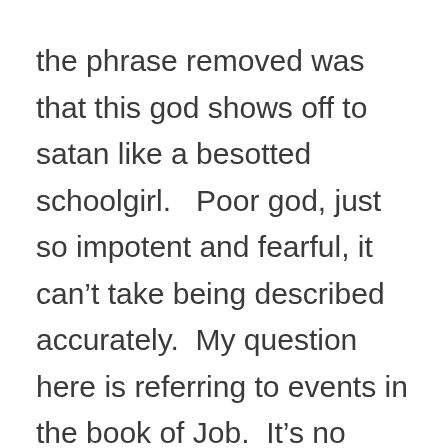the phrase removed was that this god shows off to satan like a besotted schoolgirl.   Poor god, just so impotent and fearful, it can't take being described accurately.  My question here is referring to events in the book of Job.  It's no surprise that span didn't